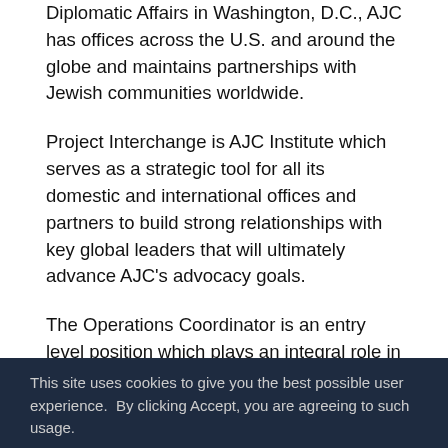Diplomatic Affairs in Washington, D.C., AJC has offices across the U.S. and around the globe and maintains partnerships with Jewish communities worldwide.
Project Interchange is AJC Institute which serves as a strategic tool for all its domestic and international offices and partners to build strong relationships with key global leaders that will ultimately advance AJC’s advocacy goals.
The Operations Coordinator is an entry level position which plays an integral role in the operation and administration of the entire Project Interchange (PI) team.  S/he will report PI’s Assistant Director of Business and Resource Development.
As part of the Operations team, the Operations Coordinator will provide administrative support to the
This site uses cookies to give you the best possible user experience.  By clicking Accept, you are agreeing to such usage.